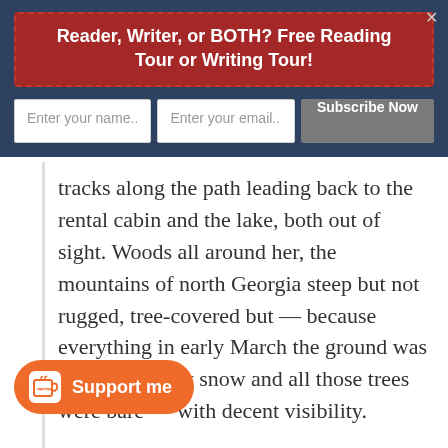Reader, Writer, or BOTH? Free Reading Tour or Writing Tour!
Enter your name..
Enter your email..
Subscribe Now
tracks along the path leading back to the rental cabin and the lake, both out of sight. Woods all around her, the mountains of north Georgia steep but not rugged, tree-covered but — because everything in early March the ground was still covered by snow and all those trees were bare — with decent visibility.
Support me
well enough in all directions, and all she could see was that she was alone.